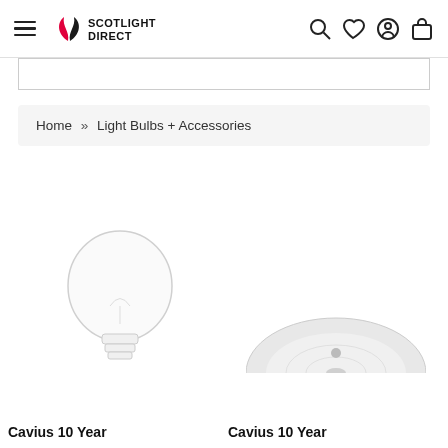Scotlight Direct
Home » Light Bulbs + Accessories
Cavius 10 Year
Cavius 10 Year